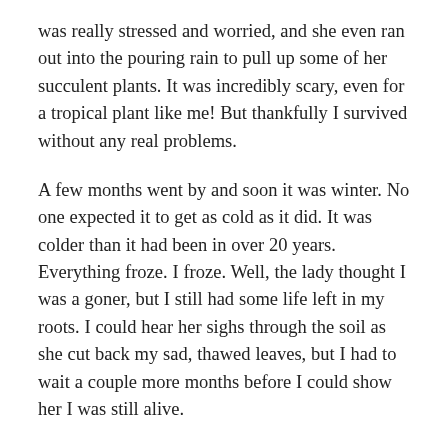was really stressed and worried, and she even ran out into the pouring rain to pull up some of her succulent plants. It was incredibly scary, even for a tropical plant like me! But thankfully I survived without any real problems.
A few months went by and soon it was winter. No one expected it to get as cold as it did. It was colder than it had been in over 20 years. Everything froze. I froze. Well, the lady thought I was a goner, but I still had some life left in my roots. I could hear her sighs through the soil as she cut back my sad, thawed leaves, but I had to wait a couple more months before I could show her I was still alive.
When I finally pushed out my first new leaf, she patted it gently and cheered even though it didn't have any of the fancy holes in it. But after I grew a few more leaves, the holes started showing again, and I finally felt back to my